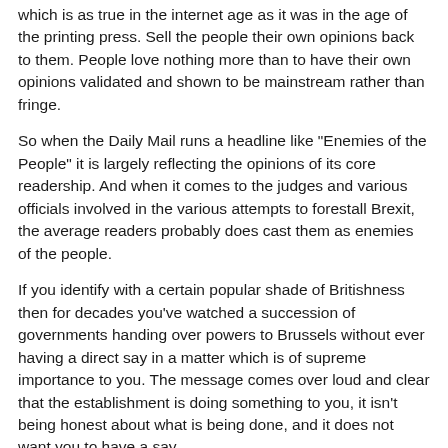which is as true in the internet age as it was in the age of the printing press. Sell the people their own opinions back to them. People love nothing more than to have their own opinions validated and shown to be mainstream rather than fringe.
So when the Daily Mail runs a headline like "Enemies of the People" it is largely reflecting the opinions of its core readership. And when it comes to the judges and various officials involved in the various attempts to forestall Brexit, the average readers probably does cast them as enemies of the people.
If you identify with a certain popular shade of Britishness then for decades you've watched a succession of governments handing over powers to Brussels without ever having a direct say in a matter which is of supreme importance to you. The message comes over loud and clear that the establishment is doing something to you, it isn't being honest about what is being done, and it does not want you to have a say.